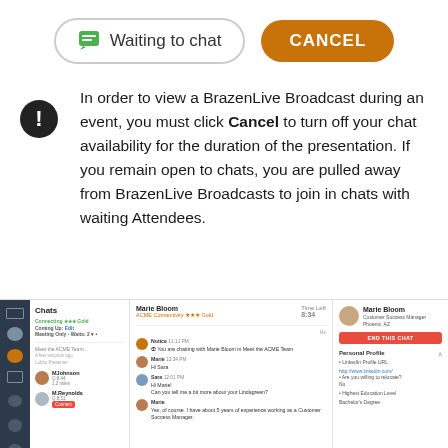[Figure (screenshot): Two UI buttons: 'Waiting to chat' (outlined pill with green chat icon) and 'CANCEL' (orange/brown pill button)]
In order to view a BrazenLive Broadcast during an event, you must click Cancel to turn off your chat availability for the duration of the presentation. If you remain open to chats, you are pulled away from BrazenLive Broadcasts to join in chats with waiting Attendees.
[Figure (screenshot): Screenshot of Brazen chat interface showing Chats panel, a chat with Marie Bloom (Customer Success Manager), and her profile panel with END THIS CHAT button and Personal Profile section]